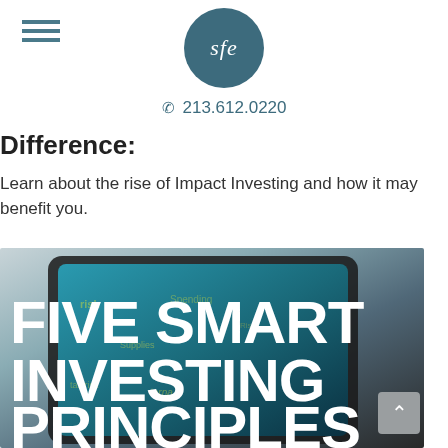sfe | 213.612.0220
Difference:
Learn about the rise of Impact Investing and how it may benefit you.
[Figure (photo): A tablet device held in hands displaying a magazine cover with the text 'FIVE SMART INVESTING PRINCIPLES' overlaid in large bold white letters against a teal/dark background. Various financial keywords visible in background.]